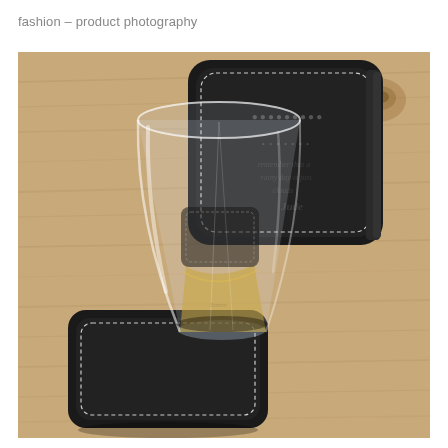fashion – product photography
[Figure (photo): Product photography of a whisky glass with amber liquid sitting on a black leather coaster with white stitching. In the background is a black leather coaster set/holder with multiple coasters and embossed text, placed on a light wood surface.]